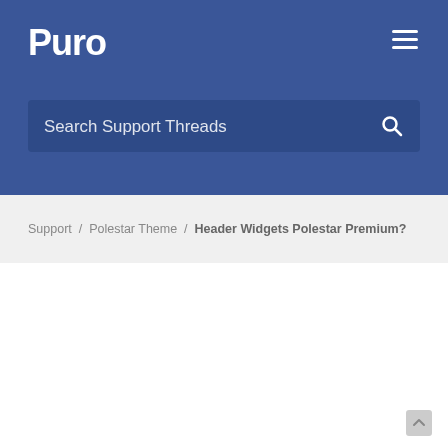Puro
[Figure (screenshot): Search Support Threads input bar with search icon on blue background]
Support / Polestar Theme / Header Widgets Polestar Premium?
[Resolved] Header Widgets Polestar Premium?